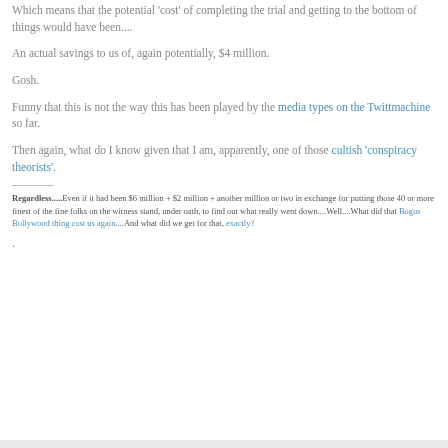Which means that the potential 'cost' of completing the trial and getting to the bottom of things would have been....
An actual savings to us of, again potentially, $4 million.
Gosh.
Funny that this is not the way this has been played by the media types on the Twittmachine so far.
Then again, what do I know given that I am, apparently, one of those cultish 'conspiracy theorists'.
Regardless.....Even if it had been $6 million + $2 million + another million or two in exchange for putting those 40 or more finest of the fine folks on the witness stand, under oath, to find out what really went down....Well....What did that Bogus Bollywood thing cost us again....And what did we get for that, exactly?
.